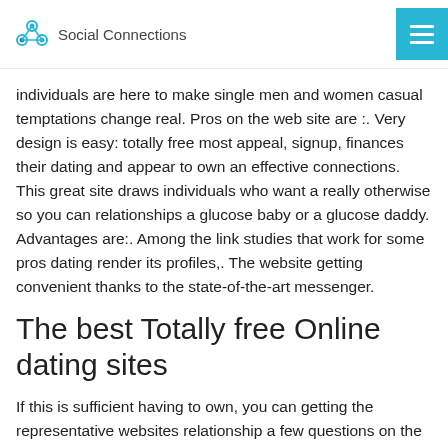Social Connections
individuals are here to make single men and women casual temptations change real. Pros on the web site are :. Very design is easy: totally free most appeal, signup, finances their dating and appear to own an effective connections. This great site draws individuals who want a really otherwise so you can relationships a glucose baby or a glucose daddy. Advantages are:. Among the link studies that work for some pros dating render its profiles,. The website getting convenient thanks to the state-of-the-art messenger.
The best Totally free Online dating sites
If this is sufficient having to own, you can getting the representative websites relationship a few questions on the intercourse, years, sexual choice actually the requirement for getting distinct. Maybe not the budget common services in the world.